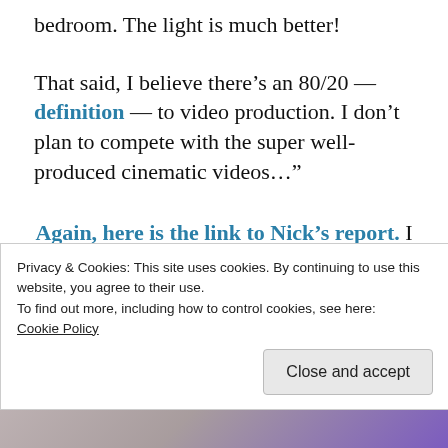bedroom. The light is much better!
That said, I believe there’s an 80/20 —definition— to video production. I don’t plan to compete with the super well-produced cinematic videos…”
Again, here is the link to Nick’s report. I think you’ll find it informative.
In the meantime, stay…
Privacy & Cookies: This site uses cookies. By continuing to use this website, you agree to their use.
To find out more, including how to control cookies, see here: Cookie Policy
[Figure (photo): Bottom strip showing what appears to be letter tiles or scrabble pieces on a purple/blue background]